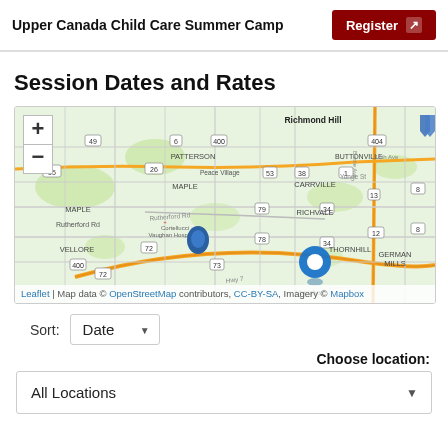Upper Canada Child Care Summer Camp | Register
Session Dates and Rates
[Figure (map): Interactive map showing the Greater Toronto Area including Richmond Hill, Vaughan, Maple, Patterson, Carrville, Richvale, Thornhill, and German Mills. A large blue pin marker is visible in the lower-center area. A smaller blue pin is near Vellore/Vaughan Hospital area. Map controls: zoom in (+) and zoom out (-) buttons on the upper left.]
Leaflet | Map data © OpenStreetMap contributors, CC-BY-SA, Imagery © Mapbox
Sort: Date
Choose location:
All Locations